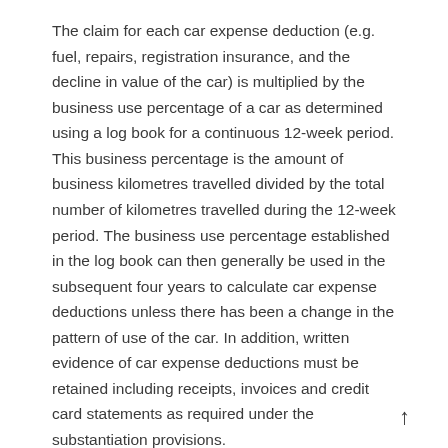The claim for each car expense deduction (e.g. fuel, repairs, registration insurance, and the decline in value of the car) is multiplied by the business use percentage of a car as determined using a log book for a continuous 12-week period. This business percentage is the amount of business kilometres travelled divided by the total number of kilometres travelled during the 12-week period. The business use percentage established in the log book can then generally be used in the subsequent four years to calculate car expense deductions unless there has been a change in the pattern of use of the car. In addition, written evidence of car expense deductions must be retained including receipts, invoices and credit card statements as required under the substantiation provisions.